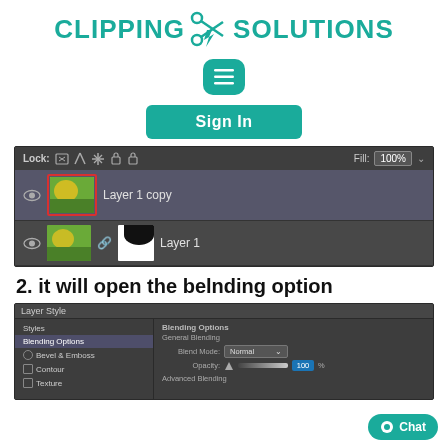[Figure (logo): Clipping Solutions logo with scissors icon in teal, menu icon button, and Sign In button]
[Figure (screenshot): Photoshop layers panel showing 'Layer 1 copy' with red border highlight and 'Layer 1' with mask thumbnail. Lock and Fill controls visible in toolbar.]
2. it will open the belnding option
[Figure (screenshot): Photoshop Layer Style dialog showing Styles list on left (Blending Options, Bevel & Emboss, Contour, Texture) and Blending Options panel on right with General Blending (Blend Mode: Normal, Opacity: 100%) and Advanced Blending section.]
[Figure (other): Chat bubble button in bottom right corner]